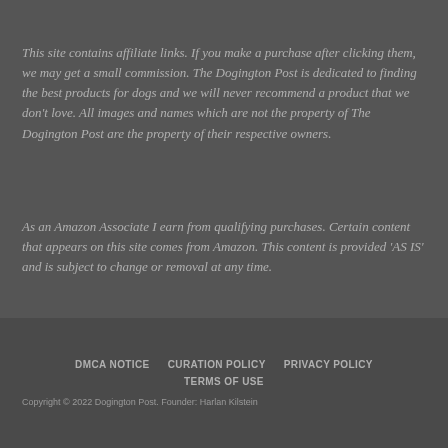This site contains affiliate links. If you make a purchase after clicking them, we may get a small commission. The Dogington Post is dedicated to finding the best products for dogs and we will never recommend a product that we don't love. All images and names which are not the property of The Dogington Post are the property of their respective owners.
As an Amazon Associate I earn from qualifying purchases. Certain content that appears on this site comes from Amazon. This content is provided 'AS IS' and is subject to change or removal at any time.
DMCA NOTICE   CURATION POLICY   PRIVACY POLICY   TERMS OF USE   Copyright © 2022 Dogington Post. Founder: Harlan Kilstein